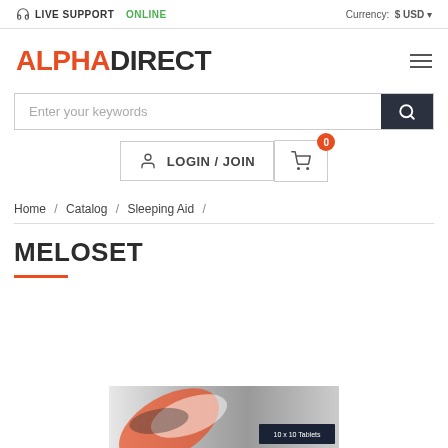LIVE SUPPORT ONLINE   Currency: $USD
ALPHADIRECT
Enter your keywords
LOGIN / JOIN
Home / Catalog / Sleeping Aid /
MELOSET
[Figure (photo): Partial view of a product package — Meloset tablet box, 10x10 Tablets, partially visible at bottom of page]